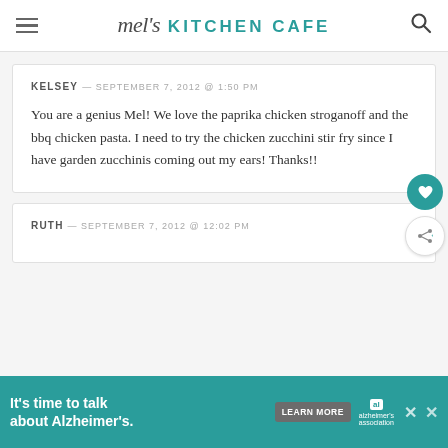mel's KITCHEN CAFE
KELSEY — SEPTEMBER 7, 2012 @ 1:50 PM

You are a genius Mel! We love the paprika chicken stroganoff and the bbq chicken pasta. I need to try the chicken zucchini stir fry since I have garden zucchinis coming out my ears! Thanks!!
RUTH — SEPTEMBER 7, 2012 @ 12:02 PM
[Figure (screenshot): Advertisement banner: It's time to talk about Alzheimer's. with a LEARN MORE button and Alzheimer's Association logo]